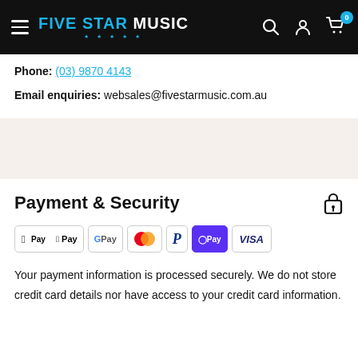FIVE STAR MUSIC — navigation bar with hamburger menu, search, account, and cart icons
Phone: (03) 9870 4143
Email enquiries: websales@fivestarmusic.com.au
Payment & Security
[Figure (logo): Payment method logos: Apple Pay, Google Pay, Mastercard, PayPal, Shop Pay, Visa]
Your payment information is processed securely. We do not store credit card details nor have access to your credit card information.